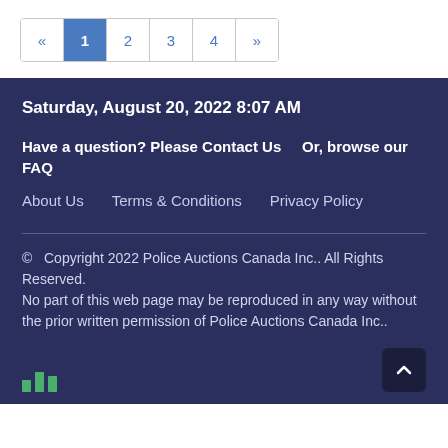[Figure (other): Pagination control with previous arrow, pages 1 (active/highlighted in blue), 2, 3, 4, and next arrow]
Saturday, August 20, 2022 8:07 AM
Have a question? Please Contact Us    Or, browse our FAQ
About Us    Terms & Conditions    Privacy Policy
© Copyright 2022 Police Auctions Canada Inc.. All Rights Reserved.
No part of this web page may be reproduced in any way without the prior written permission of Police Auctions Canada Inc..